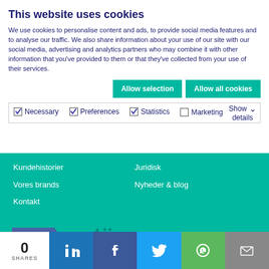This website uses cookies
We use cookies to personalise content and ads, to provide social media features and to analyse our traffic. We also share information about your use of our site with our social media, advertising and analytics partners who may combine it with other information that you've provided to them or that they've collected from your use of their services.
Allow selection | Allow all cookies
Necessary  Preferences  Statistics  Marketing  Show details
Kundehistorier
Juridisk
Vores brands
Nyheder & blog
Kontakt
[Figure (logo): Member of RWTÜV logo badge with teal nwtuv text]
RWTÜV | LinkedIn
0 SHARES | LinkedIn | Facebook | Twitter | WhatsApp | Email